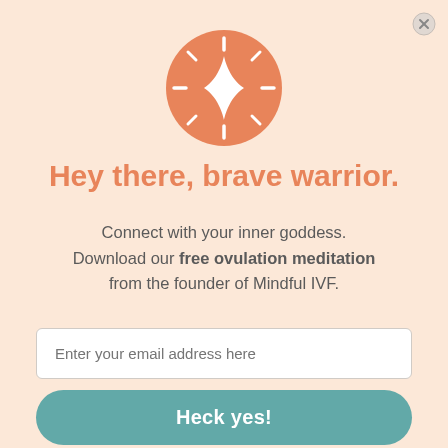[Figure (illustration): Salmon/peach colored circle with a four-pointed star/sparkle icon in white at the center, with short radiating lines around it]
Hey there, brave warrior.
Connect with your inner goddess. Download our free ovulation meditation from the founder of Mindful IVF.
Enter your email address here
Heck yes!